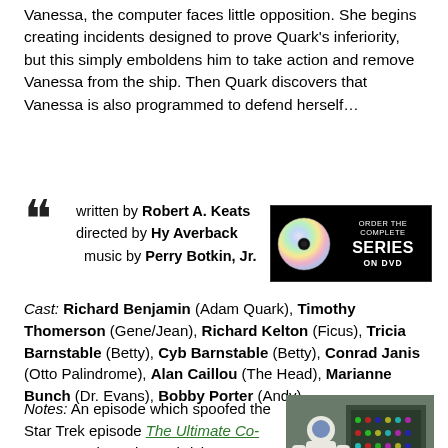Vanessa, the computer faces little opposition. She begins creating incidents designed to prove Quark's inferiority, but this simply emboldens him to take action and remove Vanessa from the ship. Then Quark discovers that Vanessa is also programmed to defend herself…
written by Robert A. Keats
directed by Hy Averback
music by Perry Botkin, Jr.
[Figure (other): ORDER THE COMPLETE SERIES ON DVD banner with DVD disc graphic]
Cast: Richard Benjamin (Adam Quark), Timothy Thomerson (Gene/Jean), Richard Kelton (Ficus), Tricia Barnstable (Betty), Cyb Barnstable (Betty), Conrad Janis (Otto Palindrome), Alan Caillou (The Head), Marianne Bunch (Dr. Evans), Bobby Porter (Andy)
Notes: An episode which spoofed the Star Trek episode The Ultimate Computer and Stanley Kubrick's 2001: a space odyssey in equal measure, this was the final episode
[Figure (photo): Photo of a person in a white spacesuit working at a control panel with lights]